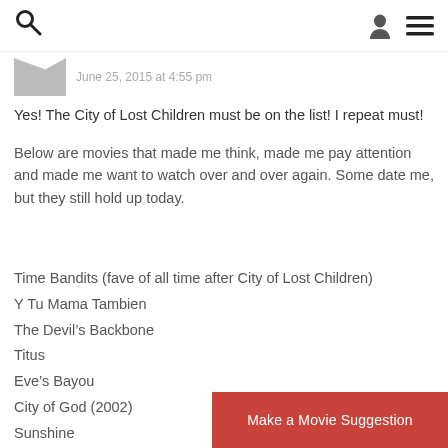Search | User | Menu
June 25, 2015 at 4:55 pm
Yes! The City of Lost Children must be on the list! I repeat must!
Below are movies that made me think, made me pay attention and made me want to watch over and over again. Some date me, but they still hold up today.
Time Bandits (fave of all time after City of Lost Children)
Y Tu Mama Tambien
The Devil’s Backbone
Titus
Eve’s Bayou
City of God (2002)
Sunshine
Doubt
Make a Movie Suggestion